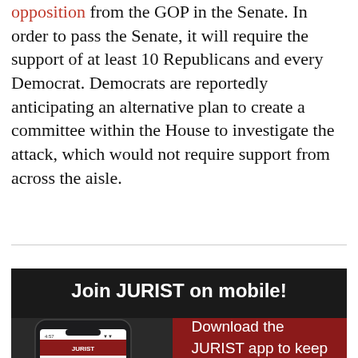opposition from the GOP in the Senate. In order to pass the Senate, it will require the support of at least 10 Republicans and every Democrat. Democrats are reportedly anticipating an alternative plan to create a committee within the House to investigate the attack, which would not require support from across the aisle.
[Figure (infographic): JURIST mobile app advertisement banner. Dark background with 'Join JURIST on mobile!' heading. Left side shows a smartphone displaying the JURIST app with 'Latest News and Commentary' and 'India court seeks government' visible. Right side has dark red background with text 'Download the JURIST app to keep'.]